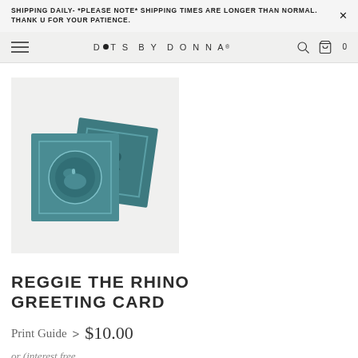SHIPPING DAILY- *PLEASE NOTE* SHIPPING TIMES ARE LONGER THAN NORMAL. THANK U FOR YOUR PATIENCE.
D•TS BY DONNA®
[Figure (photo): Two teal/dark green greeting cards overlapping, showing a rhino circular illustration design, on a light grey background.]
REGGIE THE RHINO GREETING CARD
Print Guide > $10.00